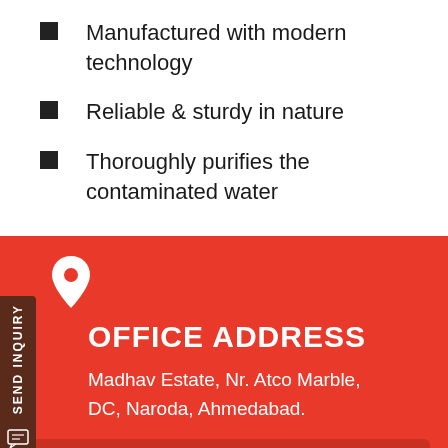Manufactured with modern technology
Reliable & sturdy in nature
Thoroughly purifies the contaminated water
OFFICE ADDRESS
Madhav Estate, Nr. Atco Marble, DC, Naroda, Ahmedabad.